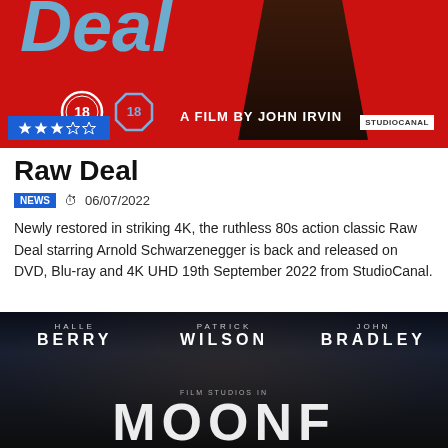[Figure (photo): Movie cover for Raw Deal — red background with stylized title text in light blue, a dark silhouetted figure, two age rating badges (18 circle and 18 octagon), text 'A FILM BY JOHN IRVIN', StudioCanal logo, and a 3-star rating badge in blue at bottom left]
Raw Deal
NEWS  06/07/2022
Newly restored in striking 4K, the ruthless 80s action classic Raw Deal starring Arnold Schwarzenegger is back and released on DVD, Blu-ray and 4K UHD 19th September 2022 from StudioCanal.
[Figure (photo): Movie poster for a film featuring cast names: HALLE BERRY, PATRICK WILSON, JOHN BRADLEY on a dark stormy background with large partially visible title text at the bottom]